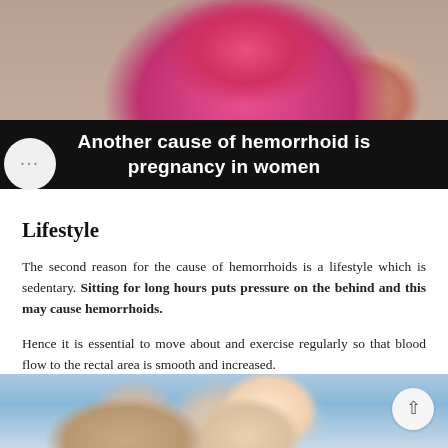[Figure (photo): Pregnant woman in pink top holding belly, cropped torso shot]
Another cause of hemorrhoid is pregnancy in women
Lifestyle
The second reason for the cause of hemorrhoids is a lifestyle which is sedentary. Sitting for long hours puts pressure on the behind and this may cause hemorrhoids.
Hence it is essential to move about and exercise regularly so that blood flow to the rectal area is smooth and increased.
[Figure (photo): People exercising, partial view showing heads and shoulders in gym/exercise setting]